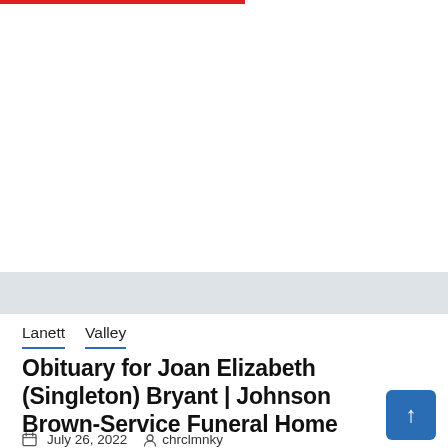Lanett  Valley
Obituary for Joan Elizabeth (Singleton) Bryant | Johnson Brown-Service Funeral Home
July 26, 2022   chrclmnky